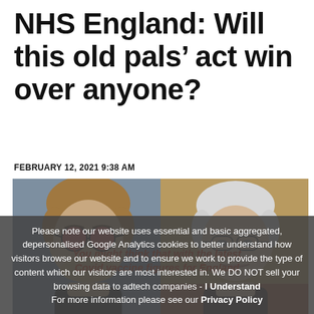NHS England: Will this old pals’ act win over anyone?
FEBRUARY 12, 2021 9:38 AM
[Figure (photo): Side-by-side portrait photos of two older men, one wearing pink-tinted round glasses on a grey background (left), and an older white-haired man on a warm tan/wood background (right).]
Please note our website uses essential and basic aggregated, depersonalised Google Analytics cookies to better understand how visitors browse our website and to ensure we work to provide the type of content which our visitors are most interested in. We DO NOT sell your browsing data to adtech companies - I Understand
For more information please see our Privacy Policy
You might think that with the latest
Covid vaccine figures for England